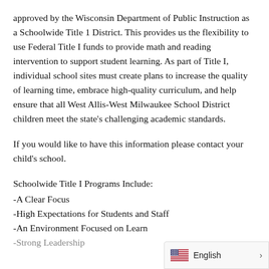approved by the Wisconsin Department of Public Instruction as a Schoolwide Title 1 District. This provides us the flexibility to use Federal Title I funds to provide math and reading intervention to support student learning. As part of Title I, individual school sites must create plans to increase the quality of learning time, embrace high-quality curriculum, and help ensure that all West Allis-West Milwaukee School District children meet the state's challenging academic standards.
If you would like to have this information please contact your child's school.
Schoolwide Title I Programs Include:
-A Clear Focus
-High Expectations for Students and Staff
-An Environment Focused on Learn
-Strong Leadership